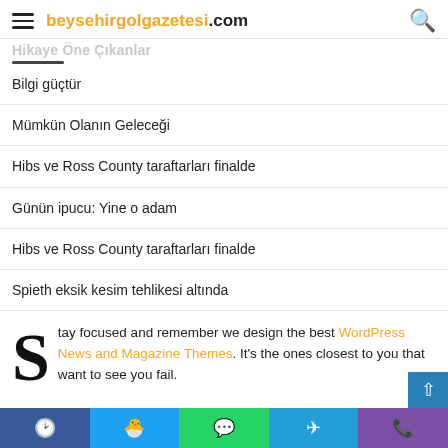beysehirgolgazetesi.com
Hikaye Öne Çıkanlar
Bilgi güçtür
Mümkün Olanın Geleceği
Hibs ve Ross County taraftarları finalde
Günün ipucu: Yine o adam
Hibs ve Ross County taraftarları finalde
Spieth eksik kesim tehlikesi altında
Stay focused and remember we design the best WordPress News and Magazine Themes. It's the ones closest to you that want to see you fail.
Facebook Twitter WhatsApp Telegram Phone